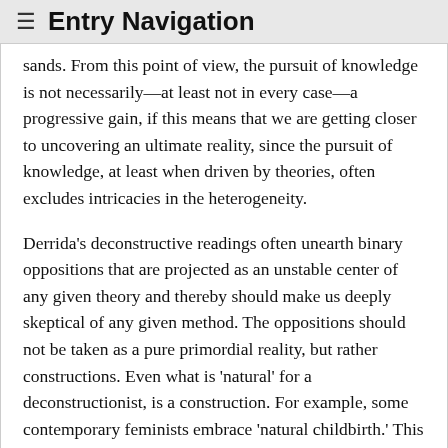≡ Entry Navigation
sands. From this point of view, the pursuit of knowledge is not necessarily—at least not in every case—a progressive gain, if this means that we are getting closer to uncovering an ultimate reality, since the pursuit of knowledge, at least when driven by theories, often excludes intricacies in the heterogeneity.
Derrida's deconstructive readings often unearth binary oppositions that are projected as an unstable center of any given theory and thereby should make us deeply skeptical of any given method. The oppositions should not be taken as a pure primordial reality, but rather constructions. Even what is 'natural' for a deconstructionist, is a construction. For example, some contemporary feminists embrace 'natural childbirth.' This concept is supposed to describe a pure experience, one which is unsullied by technology designed, perhaps, to control unruly female bodies. And yet, natural childbirth is as much a constructed concept as 'hospital birth.' The latter concept simultaneously constructs 'natural childbirth' as the other (its mutually